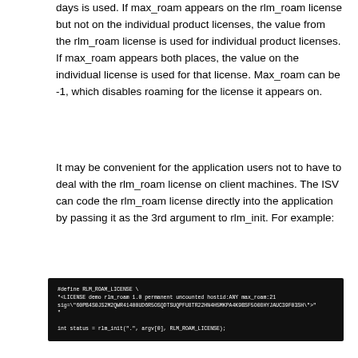days is used. If max_roam appears on the rlm_roam license but not on the individual product licenses, the value from the rlm_roam license is used for individual product licenses. If max_roam appears both places, the value on the individual license is used for that license. Max_roam can be -1, which disables roaming for the license it appears on.
It may be convenient for the application users not to have to deal with the rlm_roam license on client machines. The ISV can code the rlm_roam license directly into the application by passing it as the 3rd argument to rlm_init. For example:
[Figure (screenshot): Dark terminal/code block showing: #define RLM_ROAM_LICENSE \ "<LICENSE demo rlm_roam 1.0 permanent uncounted hostid:ANY max_roam:21 sig=\"60PB4S0JS2M2QWR41400UD6R5OSQDTSUQPFU8TR22HN4H5MKPA4K9BSF5O08HYJAUC39F03SH\">" int status = rlm_init(".", argv[0], RLM_ROAM_LICENSE);]